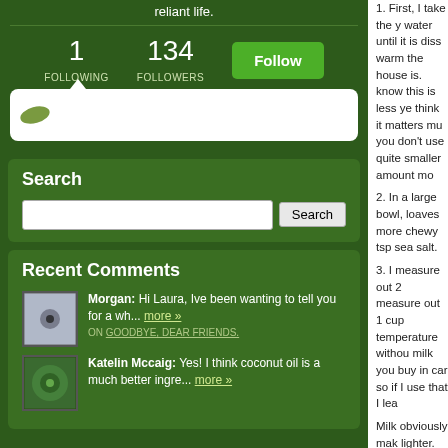reliant life.
1 FOLLOWING   134 FOLLOWERS   Follow
Search
Recent Comments
Morgan: Hi Laura, Ive been wanting to tell you for a wh... more »
ON GOODBYE, DEAR FRIENDS.
Katelin Mccaig: Yes! I think coconut oil is a much better ingre... more »
1. First, I take the y water until it is diss warm the house is. know this is less ye think it matters mu you don't use quite smaller amount mo
2. In a large bowl, loaves more chewy tsp sea salt.
3. I measure out 2 measure out 1 cup temperature withou milk you buy in car so if I use that I lea
Milk obviously mak lighter.
I add some melted around 2 tbsp.
4. I pour this liquid